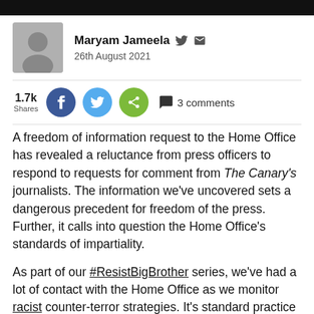Maryam Jameela  26th August 2021
1.7k Shares  3 comments
A freedom of information request to the Home Office has revealed a reluctance from press officers to respond to requests for comment from The Canary's journalists. The information we've uncovered sets a dangerous precedent for freedom of the press. Further, it calls into question the Home Office's standards of impartiality.
As part of our #ResistBigBrother series, we've had a lot of contact with the Home Office as we monitor racist counter-terror strategies. It's standard practice for journalists to get in touch with whoever we're writing about to give them a chance to respond.